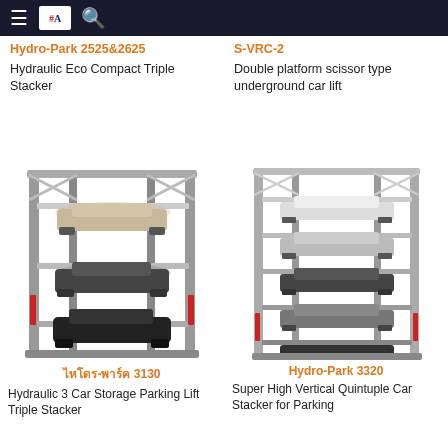Navigation header with menu, logo, and search
Hydro-Park 2525&2625
Hydraulic Eco Compact Triple Stacker
S-VRC-2
Double platform scissor type underground car lift
[Figure (photo): Hydraulic 3 Car Storage Parking Lift Triple Stacker physical model with three cars stacked on a metal frame structure]
ไฮโดร-พาร์ค 3130
Hydraulic 3 Car Storage Parking Lift Triple Stacker
[Figure (photo): Super High Vertical Quintuple Car Stacker for Parking physical model with five cars on tall metal frame structure]
Hydro-Park 3320
Super High Vertical Quintuple Car Stacker for Parking